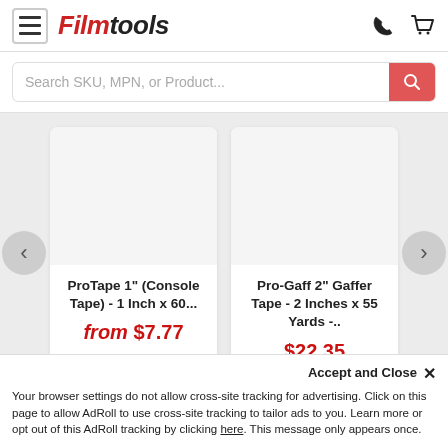Filmtools
Search SKU, MPN, or Product...
[Figure (screenshot): Product image placeholder for ProTape 1 inch Console Tape]
ProTape 1" (Console Tape) - 1 Inch x 60...
from $7.77
[Figure (screenshot): Product image placeholder for Pro-Gaff 2 inch Gaffer Tape]
Pro-Gaff 2" Gaffer Tape - 2 Inches x 55 Yards -..
$22.35
Accept and Close ×
Your browser settings do not allow cross-site tracking for advertising. Click on this page to allow AdRoll to use cross-site tracking to tailor ads to you. Learn more or opt out of this AdRoll tracking by clicking here. This message only appears once.